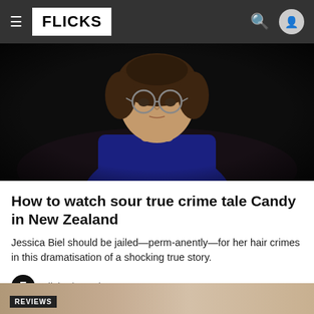FLICKS
[Figure (photo): A woman with short wavy hair and round glasses wearing a blue top, photographed in a dark dramatic setting — scene from the TV show Candy]
How to watch sour true crime tale Candy in New Zealand
Jessica Biel should be jailed—perm-anently—for her hair crimes in this dramatisation of a shocking true story.
Flicks /26 Jul
REVIEWS